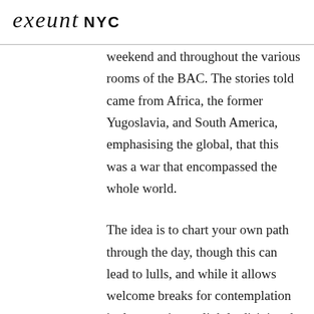exeunt NYC
weekend and throughout the various rooms of the BAC. The stories told came from Africa, the former Yugoslavia, and South America, emphasising the global, that this was a war that encompassed the whole world.
The idea is to chart your own path through the day, though this can lead to lulls, and while it allows welcome breaks for contemplation it also creating a slightly disjointed, fragmented feeling. Later in the day Stan's Café will be performing Finger, Trigger, Bullet, Gun, a piece in which chains